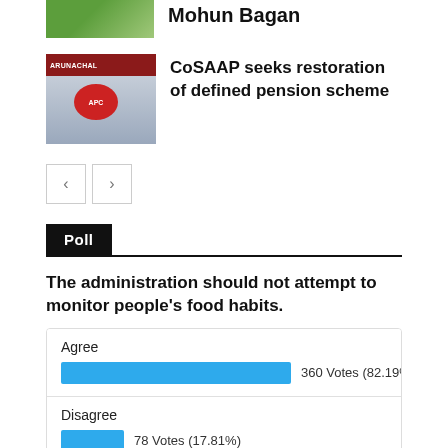Mohun Bagan
[Figure (photo): Sports photo with green background, partial view cropped at top]
[Figure (photo): Press conference photo with people seated at table, APC logo banner in background]
CoSAAP seeks restoration of defined pension scheme
Poll
The administration should not attempt to monitor people's food habits.
[Figure (bar-chart): Poll results]